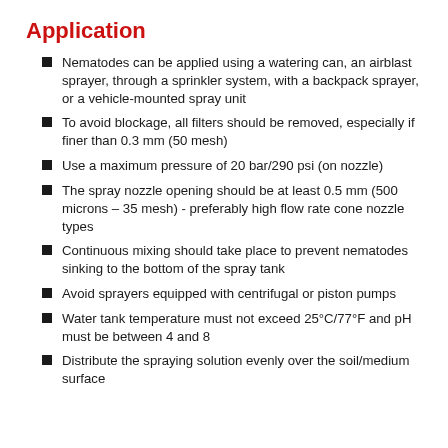Application
Nematodes can be applied using a watering can, an airblast sprayer, through a sprinkler system, with a backpack sprayer, or a vehicle-mounted spray unit
To avoid blockage, all filters should be removed, especially if finer than 0.3 mm (50 mesh)
Use a maximum pressure of 20 bar/290 psi (on nozzle)
The spray nozzle opening should be at least 0.5 mm (500 microns – 35 mesh) - preferably high flow rate cone nozzle types
Continuous mixing should take place to prevent nematodes sinking to the bottom of the spray tank
Avoid sprayers equipped with centrifugal or piston pumps
Water tank temperature must not exceed 25°C/77°F and pH must be between 4 and 8
Distribute the spraying solution evenly over the soil/medium surface